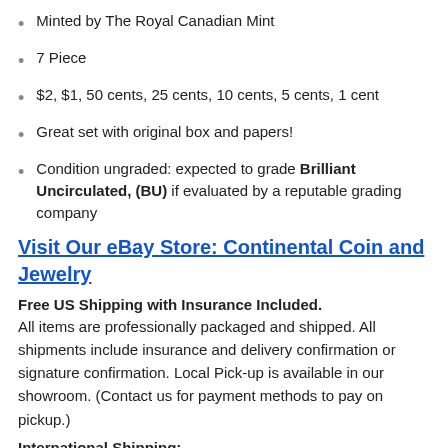Minted by The Royal Canadian Mint
7 Piece
$2, $1, 50 cents, 25 cents, 10 cents, 5 cents, 1 cent
Great set with original box and papers!
Condition ungraded: expected to grade Brilliant Uncirculated, (BU) if evaluated by a reputable grading company
Visit Our eBay Store: Continental Coin and Jewelry
Free US Shipping with Insurance Included.
All items are professionally packaged and shipped. All shipments include insurance and delivery confirmation or signature confirmation. Local Pick-up is available in our showroom. (Contact us for payment methods to pay on pickup.)
International Shipping:
Worldwide shipping at buyer’s expense. The customs...